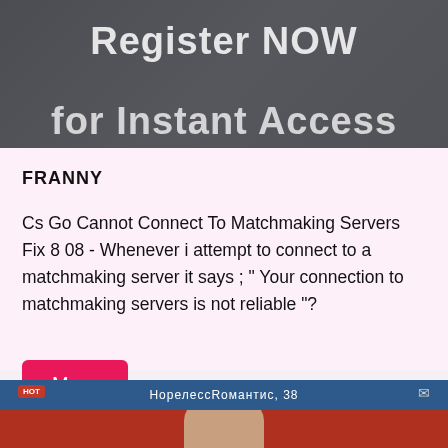[Figure (screenshot): Dark background image with overlaid text 'Register NOW' and 'for Instant Access' in white bold letters]
FRANNY
Cs Go Cannot Connect To Matchmaking Servers Fix 8 08 - Whenever i attempt to connect to a matchmaking server it says ; " Your connection to matchmaking servers is not reliable "?
More
[Figure (screenshot): Screenshot of a website or app with blue header bar showing reversed text 'НорелессRомантис, 38' and a HOT badge, with a person's head visible at the bottom on a red background]